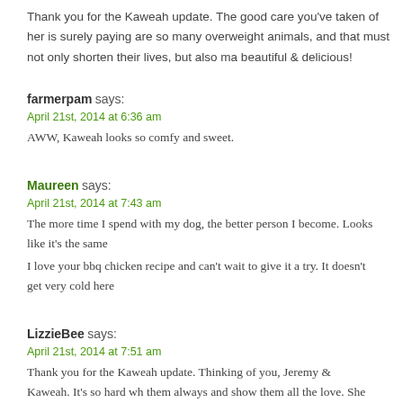Thank you for the Kaweah update. The good care you've taken of her is surely paying... are so many overweight animals, and that must not only shorten their lives, but also ma... beautiful & delicious!
farmerpam says:
April 21st, 2014 at 6:36 am
AWW, Kaweah looks so comfy and sweet.
Maureen says:
April 21st, 2014 at 7:43 am
The more time I spend with my dog, the better person I become. Looks like it's the same...
I love your bbq chicken recipe and can't wait to give it a try. It doesn't get very cold here...
LizzieBee says:
April 21st, 2014 at 7:51 am
Thank you for the Kaweah update. Thinking of you, Jeremy & Kaweah. It's so hard wh... them always and show them all the love. She does look very comfy & loved :)
Winnie says:
April 21st, 2014 at 10:34 am
I am going to make this for dinner – big hugs to your pup.